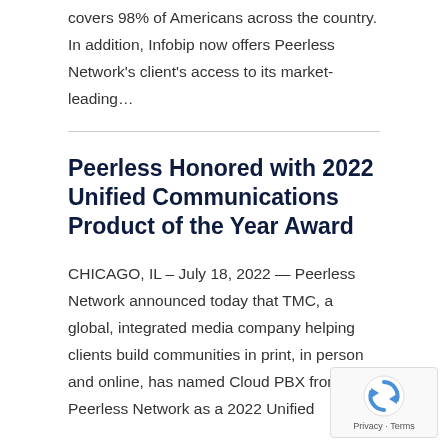covers 98% of Americans across the country. In addition, Infobip now offers Peerless Network's client's access to its market-leading...
Peerless Honored with 2022 Unified Communications Product of the Year Award
CHICAGO, IL – July 18, 2022 — Peerless Network announced today that TMC, a global, integrated media company helping clients build communities in print, in person and online, has named Cloud PBX from Peerless Network as a 2022 Unified